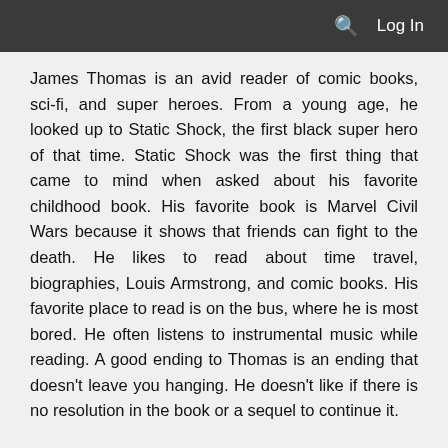🔍 Log In
James Thomas is an avid reader of comic books, sci-fi, and super heroes. From a young age, he looked up to Static Shock, the first black super hero of that time. Static Shock was the first thing that came to mind when asked about his favorite childhood book. His favorite book is Marvel Civil Wars because it shows that friends can fight to the death. He likes to read about time travel, biographies, Louis Armstrong, and comic books. His favorite place to read is on the bus, where he is most bored. He often listens to instrumental music while reading. A good ending to Thomas is an ending that doesn't leave you hanging. He doesn't like if there is no resolution in the book or a sequel to continue it.
James made it known that his least favorite book is Lord of the Flies just because it is boring. He likes to read for